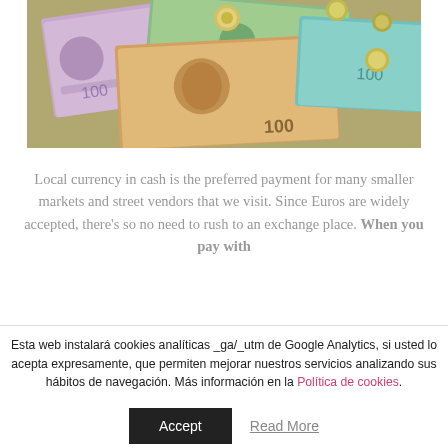[Figure (photo): Overhead photo of colorful Moroccan currency banknotes (100 and 50 dirham notes in purple, green, and orange) scattered with coins on top]
Local currency in cash is the preferred payment for many smaller markets and street vendors that we visit. Since Euros are widely accepted, there's so no need to rush to an exchange place. When you pay with
Esta web instalará cookies analíticas _ga/_utm de Google Analytics, si usted lo acepta expresamente, que permiten mejorar nuestros servicios analizando sus hábitos de navegación. Más información en la Política de cookies.